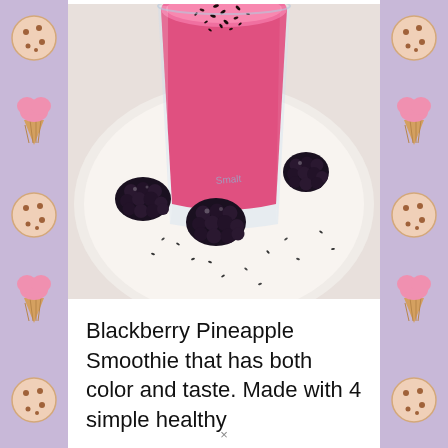[Figure (photo): A glass of bright pink blackberry pineapple smoothie topped with chia seeds, sitting on a white plate with three fresh blackberries arranged around the base and scattered chia seeds on the plate.]
Blackberry Pineapple Smoothie that has both color and taste. Made with 4 simple healthy